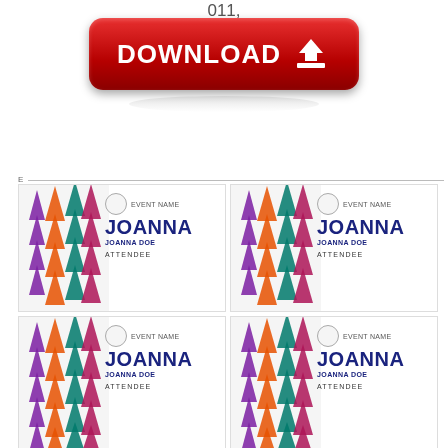011,
[Figure (illustration): Red rounded download button with white DOWNLOAD text and a white download arrow icon, with a faint reflection below]
[Figure (illustration): A 2x2 grid of name badge templates. Each badge has colorful upward arrows on the left side and text on the right reading EVENT NAME, JOANNA (large), JOANNA DOE, ATTENDEE. The bottom row badges are partially cut off.]